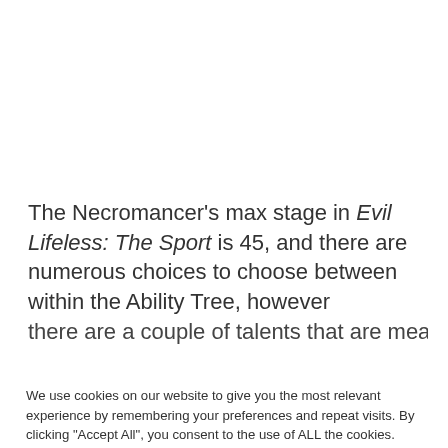The Necromancer's max stage in Evil Lifeless: The Sport is 45, and there are numerous choices to choose between within the Ability Tree, however there are a couple of talents that are meant to be
We use cookies on our website to give you the most relevant experience by remembering your preferences and repeat visits. By clicking "Accept All", you consent to the use of ALL the cookies. However, you may visit "Cookie Settings" to provide a controlled consent.